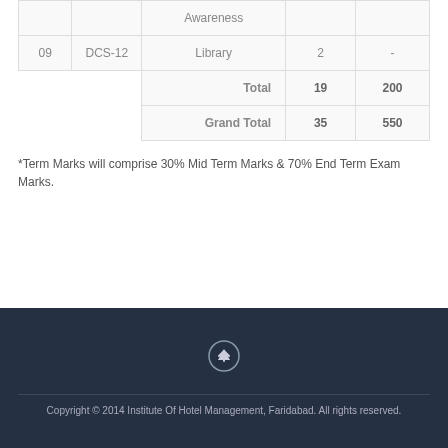|  |  |  |  |  |
| --- | --- | --- | --- | --- |
|  |  | Awareness |  |  |
| 09 | DCS-12 | Library | 2 | - |
|  |  | Total | 19 | 200 |
|  |  | Grand Total | 35 | 550 |
*Term Marks will comprise 30% Mid Term Marks & 70% End Term Exam Marks.
Copyright © 2014 Institute Of Hotel Management, Faridabad. All rights reserved.